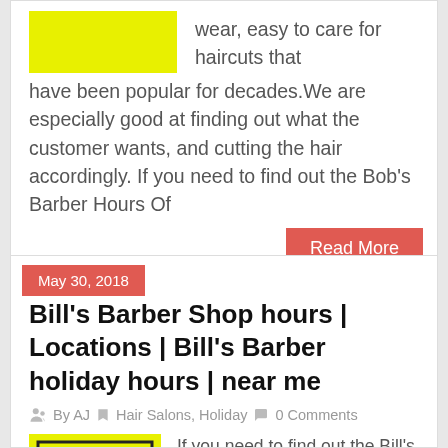wear, easy to care for haircuts that have been popular for decades.We are especially good at finding out what the customer wants, and cutting the hair accordingly. If you need to find out the Bob's Barber Hours Of
Read More
May 30, 2018
Bill's Barber Shop hours | Locations | Bill's Barber holiday hours | near me
By AJ   Hair Salons, Holiday   0 Comments
[Figure (logo): Yellow background with black border text reading BARBER BILLS BARBER in bold]
If you need to find out the Bill's Barber Shop Hours Of Operation, Holiday Hours & Bill's Barber Shop...